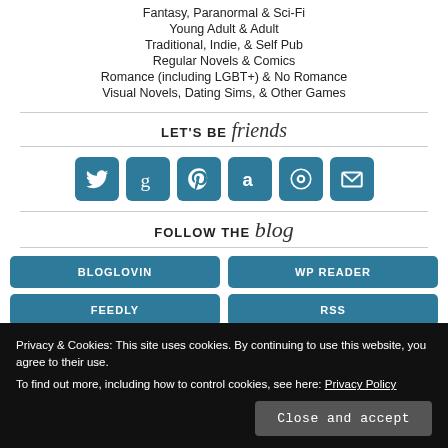Fantasy, Paranormal & Sci-Fi
Young Adult & Adult
Traditional, Indie, & Self Pub
Regular Novels & Comics
Romance (including LGBT+) & No Romance
Visual Novels, Dating Sims, & Other Games
LET'S BE friends
[Figure (infographic): Six teal social media icon buttons: Twitter, Goodreads, Pinterest, Amazon, Steam, Email]
FOLLOW THE blog
BLOGLOVIN
WP READER
FEEDLY
RSS
Privacy & Cookies: This site uses cookies. By continuing to use this website, you agree to their use.
To find out more, including how to control cookies, see here: Privacy Policy
Close and accept
Email